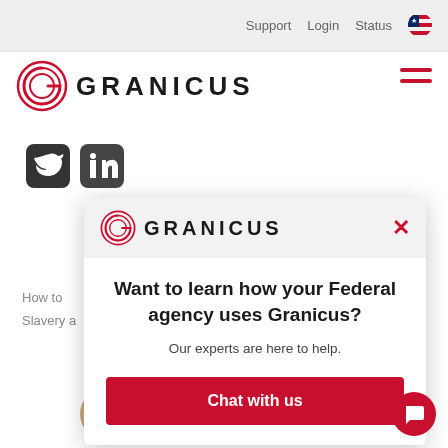Support   Login   Status
[Figure (logo): Granicus logo with stylized G and GRANICUS text, top-left of main page]
[Figure (illustration): Hamburger menu icon (three red horizontal lines), top right]
[Figure (illustration): Twitter and LinkedIn social media icons]
How to
Slavery a
[Figure (screenshot): Granicus popup modal with logo, close button, title, subtitle, and Chat with us button]
Cookie Preferences
[Figure (photo): Row of four circular avatar photos of people]
[Figure (illustration): Red circular chat FAB button bottom right]